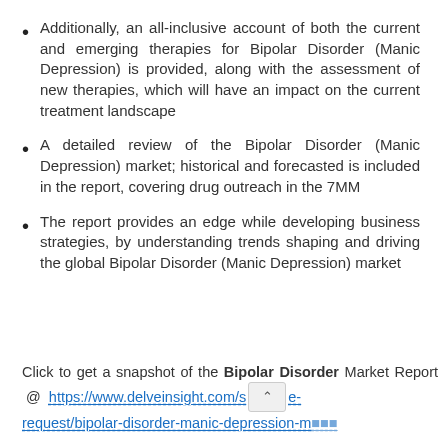Additionally, an all-inclusive account of both the current and emerging therapies for Bipolar Disorder (Manic Depression) is provided, along with the assessment of new therapies, which will have an impact on the current treatment landscape
A detailed review of the Bipolar Disorder (Manic Depression) market; historical and forecasted is included in the report, covering drug outreach in the 7MM
The report provides an edge while developing business strategies, by understanding trends shaping and driving the global Bipolar Disorder (Manic Depression) market
Click to get a snapshot of the Bipolar Disorder Market Report @ https://www.delveinsight.com/s[...]e-request/bipolar-disorder-manic-depression-m[...]